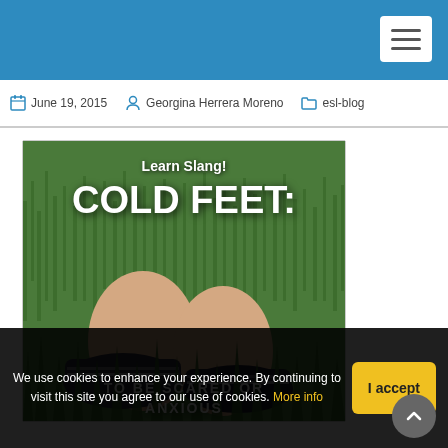June 19, 2015   Georgina Herrera Moreno   esl-blog
[Figure (illustration): Blog image showing feet in sneakers on grass with text overlay: 'Learn Slang! COLD FEET: TO BE SCARED OR ANXIOUS']
We use cookies to enhance your experience. By continuing to visit this site you agree to our use of cookies. More info
I accept